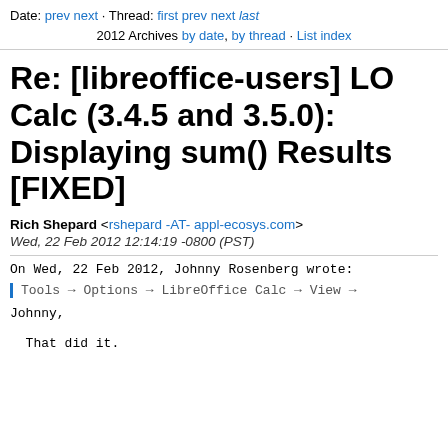Date: prev next · Thread: first prev next last
2012 Archives by date, by thread · List index
Re: [libreoffice-users] LO Calc (3.4.5 and 3.5.0): Displaying sum() Results [FIXED]
Rich Shepard <rshepard -AT- appl-ecosys.com>
Wed, 22 Feb 2012 12:14:19 -0800 (PST)
On Wed, 22 Feb 2012, Johnny Rosenberg wrote:
Tools → Options → LibreOffice Calc → View →
Johnny,

  That did it.